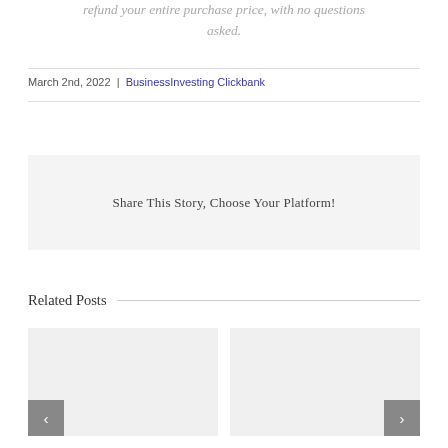refund your entire purchase price, with no questions asked.
March 2nd, 2022  |  BusinessInvesting Clickbank
Share This Story, Choose Your Platform!
Related Posts
[Figure (other): Two related post thumbnail cards with previous and next navigation arrows]
[Figure (other): Navigation arrow left (previous)]
[Figure (other): Navigation arrow right (next)]